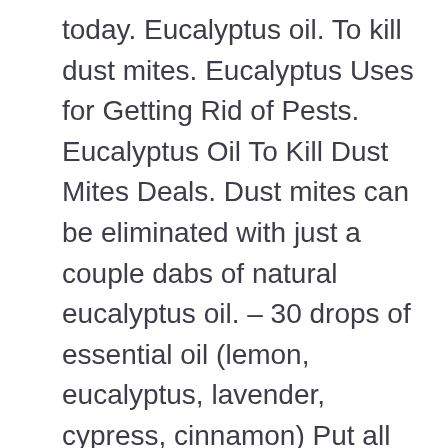today. Eucalyptus oil. To kill dust mites. Eucalyptus Uses for Getting Rid of Pests. Eucalyptus Oil To Kill Dust Mites Deals. Dust mites can be eliminated with just a couple dabs of natural eucalyptus oil. – 30 drops of essential oil (lemon, eucalyptus, lavender, cypress, cinnamon) Put all the ingredients in the spray bottle, and mix them well. To naturally deter dust mites from mattresses, to reduce dust mites and keep the mattress fresh. are there any possible negative side effects to using eucalyptus oil in an infrared sauna long term?k. Bosisto's Eucalyptus Dust Mite Spray is highly effective in killing dust mites with no harsh chemicals. 20% Off Eucalyptus Oil To Kill Dust Mites Coupon